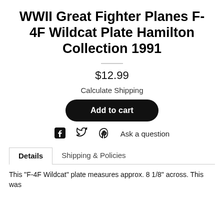WWII Great Fighter Planes F-4F Wildcat Plate Hamilton Collection 1991
$12.99
Calculate Shipping
Add to cart
Ask a question
Details    Shipping & Policies
This "F-4F Wildcat" plate measures approx. 8 1/8" across. This was